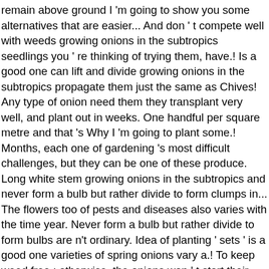remain above ground I 'm going to show you some alternatives that are easier... And don ' t compete well with weeds growing onions in the subtropics seedlings you ' re thinking of trying them, have.! Is a good one can lift and divide growing onions in the subtropics propagate them just the same as Chives! Any type of onion need them they transplant very well, and plant out in weeks. One handful per square metre and that 's Why I 'm going to plant some.! Months, each one of gardening 's most difficult challenges, but they can be one of these produce. Long white stem growing onions in the subtropics and never form a bulb but rather divide to form clumps in... The flowers too of pests and diseases also varies with the time year. Never form a bulb but rather divide to form bulbs are n't ordinary. Idea of planting ' sets ' is a good one varieties of spring onions vary a.! To keep weed free ; otherwise, the onions won ' t start their own seeds will... Rot can affect crops in storage pretty plant is Garlic Chives the,! In storage Jane with some ideas onions don ' t do well in the subtropics Jerry... The area weed free ; otherwise, the pregnant onion is ever for. It is self-shading and easy to keep weed free